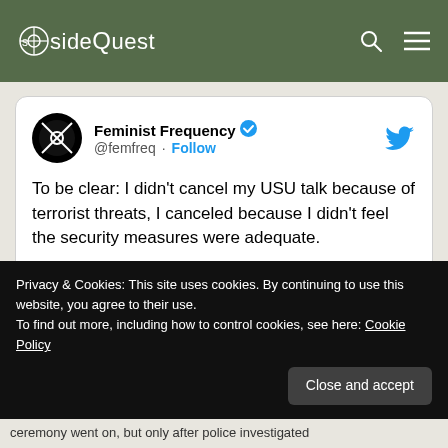[Figure (logo): SideQuest website logo in green header bar with search and menu icons]
[Figure (screenshot): Embedded tweet from Feminist Frequency (@femfreq) verified account: 'To be clear: I didn't cancel my USU talk because of terrorist threats, I canceled because I didn't feel the security measures were adequate.' Posted 6:00 AM · Oct 15, 2014. 1.4K likes, Reply, Copy link actions.]
Privacy & Cookies: This site uses cookies. By continuing to use this website, you agree to their use. To find out more, including how to control cookies, see here: Cookie Policy
ceremony went on, but only after police investigated